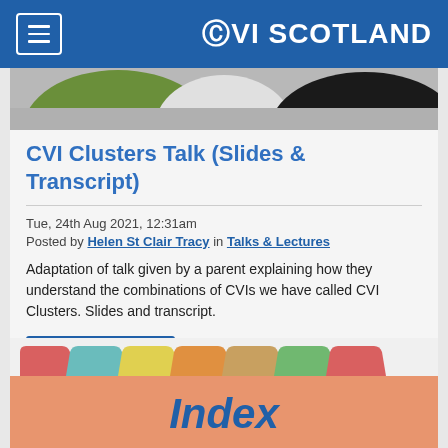CVI SCOTLAND
[Figure (photo): Partial view of colored circular plates/objects on grey background]
CVI Clusters Talk (Slides & Transcript)
Tue, 24th Aug 2021, 12:31am
Posted by Helen St Clair Tracy in Talks & Lectures
Adaptation of talk given by a parent explaining how they understand the combinations of CVIs we have called CVI Clusters. Slides and transcript.
READ MORE  988 Views
[Figure (illustration): Colorful folder tabs in red, teal, yellow, orange, green, red above an orange background with 'Index' text in blue italic]